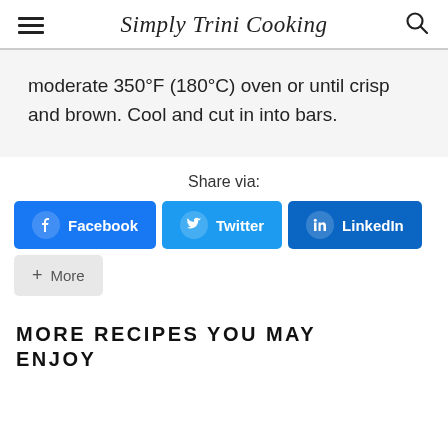Simply Trini Cooking
moderate 350°F (180°C) oven or until crisp and brown. Cool and cut in into bars.
Share via:
Facebook  Twitter  LinkedIn  + More
MORE RECIPES YOU MAY ENJOY